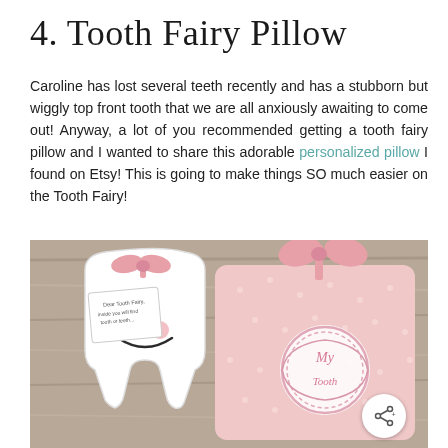4. Tooth Fairy Pillow
Caroline has lost several teeth recently and has a stubborn but wiggly top front tooth that we are all anxiously awaiting to come out! Anyway, a lot of you recommended getting a tooth fairy pillow and I wanted to share this adorable personalized pillow I found on Etsy! This is going to make things SO much easier on the Tooth Fairy!
[Figure (photo): Photo of two pink tooth fairy pillows on a wooden surface. One pillow is shaped like a tooth with a smiley face and a pink bow, the other is a rectangular pink polka-dot pillow with a large pink ribbon bow and an embroidered circular monogram pocket. A small note tag is attached to the tooth-shaped pillow.]